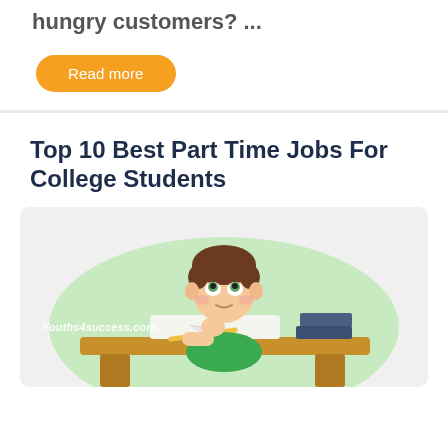hungry customers? ...
Read more
Top 10 Best Part Time Jobs For College Students
[Figure (illustration): Cartoon illustration of a bored or tired college student sitting at a desk with books and a paper airplane, on a green blob background. Watermark: Youths4success.com]